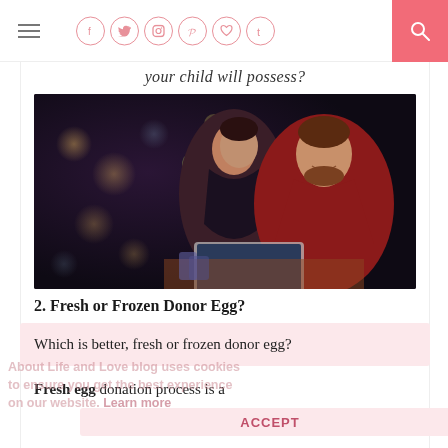Navigation bar with hamburger menu, social icons (Facebook, Twitter, Instagram, Pinterest, Heart, Tumblr), and search button
your child will possess?
[Figure (photo): A couple — a man in a red sweater and a woman — sitting together looking at a laptop, with bokeh lights in the background]
2. Fresh or Frozen Donor Egg?
Which is better, fresh or frozen donor egg?
Fresh egg donation process is a